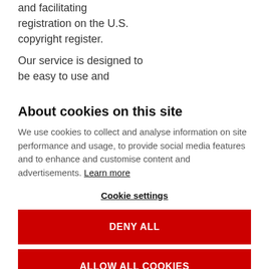and facilitating registration on the U.S. copyright register.
Our service is designed to be easy to use and
About cookies on this site
We use cookies to collect and analyse information on site performance and usage, to provide social media features and to enhance and customise content and advertisements. Learn more
Cookie settings
DENY ALL
ALLOW ALL COOKIES